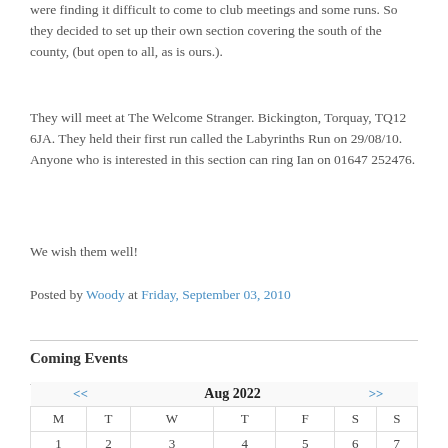were finding it difficult to come to club meetings and some runs. So they decided to set up their own section covering the south of the county, (but open to all, as is ours.).
They will meet at The Welcome Stranger. Bickington, Torquay, TQ12 6JA. They held their first run called the Labyrinths Run on 29/08/10. Anyone who is interested in this section can ring Ian on 01647 252476.
We wish them well!
Posted by Woody at Friday, September 03, 2010
Coming Events
| << | Aug 2022 |  |  |  |  | >> | M | T | W | T | F | S | S |
| --- | --- | --- | --- | --- | --- | --- | --- | --- | --- | --- | --- | --- | --- |
| 1 | 2 | 3 | 4 | 5 | 6 | 7 |